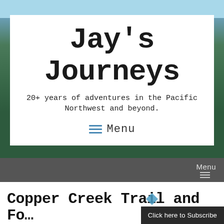Jay's Journeys
20+ years of adventures in the Pacific Northwest and beyond.
Menu
Menu
Copper Creek Trail and Fo…